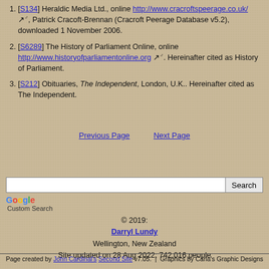[S134] Heraldic Media Ltd., online http://www.cracroftspeerage.co.uk/, Patrick Cracoft-Brennan (Cracroft Peerage Database v5.2), downloaded 1 November 2006.
[S6289] The History of Parliament Online, online http://www.historyofparliamentonline.org. Hereinafter cited as History of Parliament.
[S212] Obituaries, The Independent, London, U.K.. Hereinafter cited as The Independent.
Previous Page   Next Page
[Figure (other): Google Custom Search box with Search button]
© 2019:
Darryl Lundy
Wellington, New Zealand
Site updated on 28 Aug 2022; 742,016 people
Page created by John Cardinal's Second Site v7.05.  |  Graphics by Carla's Graphic Designs